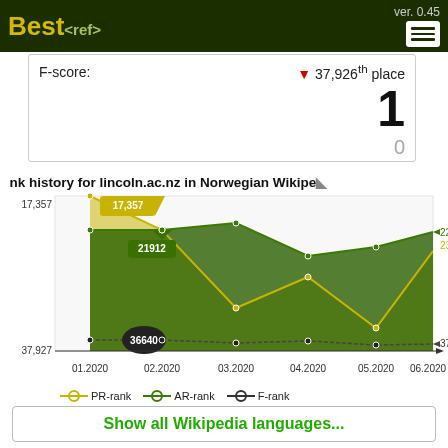Best<ref> ver. 0.45
F-score: ▼ 37,926th place
1
0
Rank history for lincoln.ac.nz in Norwegian Wikipedia
[Figure (line-chart): Rank history for lincoln.ac.nz in Norwegian Wikipedia]
PR-rank  AR-rank  F-rank
Show all Wikipedia languages...